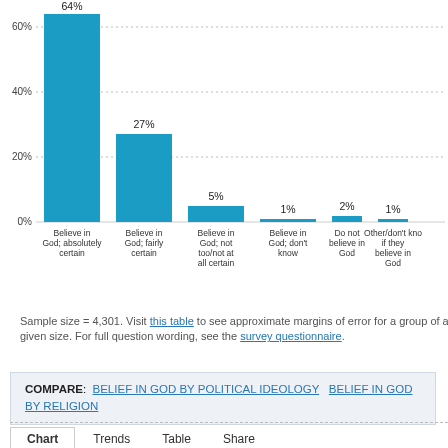[Figure (bar-chart): Belief in God]
Sample size = 4,301. Visit this table to see approximate margins of error for a group of a given size. For full question wording, see the survey questionnaire.
COMPARE: BELIEF IN GOD BY POLITICAL IDEOLOGY   BELIEF IN GOD BY RELIGION
Chart   Trends   Table   Share